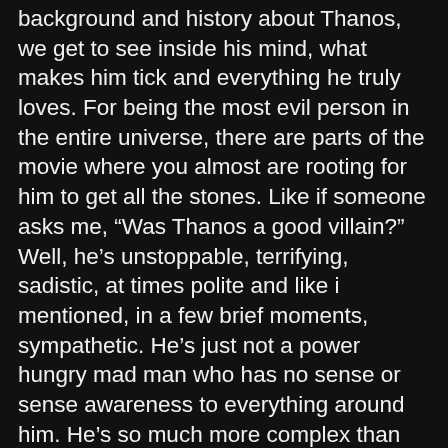background and history about Thanos, we get to see inside his mind, what makes him tick and everything he truly loves. For being the most evil person in the entire universe, there are parts of the movie where you almost are rooting for him to get all the stones. Like if someone asks me, “Was Thanos a good villain?” Well, he’s unstoppable, terrifying, sadistic, at times polite and like i mentioned, in a few brief moments, sympathetic. He’s just not a power hungry mad man who has no sense or sense awareness to everything around him. He’s so much more complex than that, and you almost see where he’s coming from. He’s the most badass villain to ever show up in a comic book movie, and with that comes the fact he’s almost the most sympathetic villain to ever grace the big screen. So if you haven’t figured out by now, I really enjoyed Thanos, he makes the movie and I was glad that he got the most screen time out of any character in the entire movie. Frankly, us fans that have been waiting all this time for him to show up deserved it.